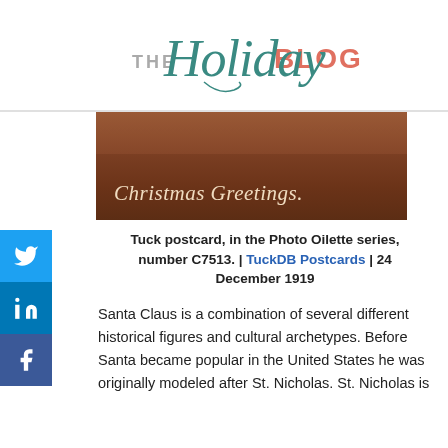[Figure (logo): The Holiday Blog logo with decorative script 'Holiday' in teal and 'THE' and 'BLOG' in gray/salmon colors]
[Figure (photo): A vintage Christmas postcard with dark brown/sepia tones showing 'Christmas Greetings.' text in italic script]
Tuck postcard, in the Photo Oilette series, number C7513. | TuckDB Postcards | 24 December 1919
Santa Claus is a combination of several different historical figures and cultural archetypes. Before Santa became popular in the United States he was originally modeled after St. Nicholas. St. Nicholas is